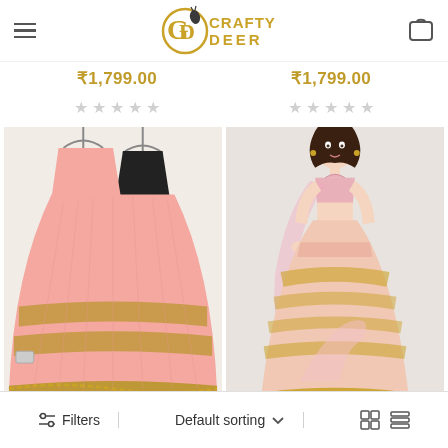Crafty Deer - navigation header with hamburger menu, logo, and cart icon
₹1,799.00   ₹1,799.00
★★★★★  ★★★★★ (empty star ratings)
[Figure (photo): Pink lehenga choli on hangers with black blouse and gold embroidery border]
[Figure (photo): Woman wearing pink lehenga choli set with gold embroidery and dupatta]
Filters   Default sorting ∨   grid view   list view